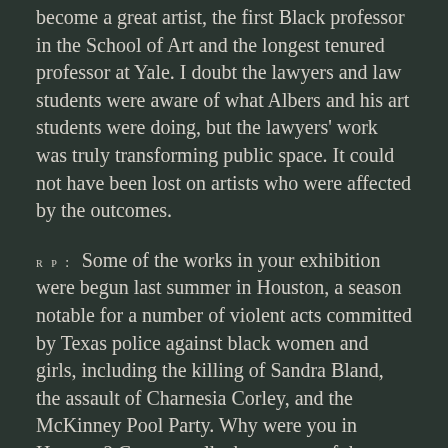become a great artist, the first Black professor in the School of Art and the longest tenured professor at Yale. I doubt the lawyers and law students were aware of what Albers and his art students were doing, but the lawyers' work was truly transforming public space. It could not have been lost on artists who were affected by the outcomes.
RP: Some of the works in your exhibition were begun last summer in Houston, a season notable for a number of violent acts committed by Texas police against black women and girls, including the killing of Sandra Bland, the assault of Charnesia Corley, and the McKinney Pool Party. Why were you in Houston? Can you talk about some of the choices you made for Vibrating Boundaries (Law of the Land) (Self Portrait as Tatyana, Dajerria, & Sandra) (2015), a video that combines painting, textiles, performance, and archival information from current and historic events?